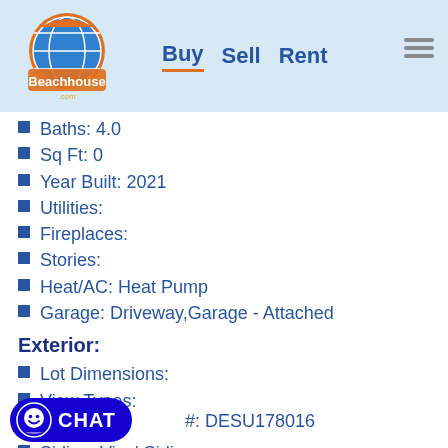Beachhouse.com — Buy  Sell  Rent
Baths: 4.0
Sq Ft: 0
Year Built: 2021
Utilities:
Fireplaces:
Stories:
Heat/AC: Heat Pump
Garage: Driveway,Garage - Attached
Exterior:
Lot Dimensions:
View Types:
Yard:
Siding: Vinyl Siding
Roof: Unknown
#: DESU178016